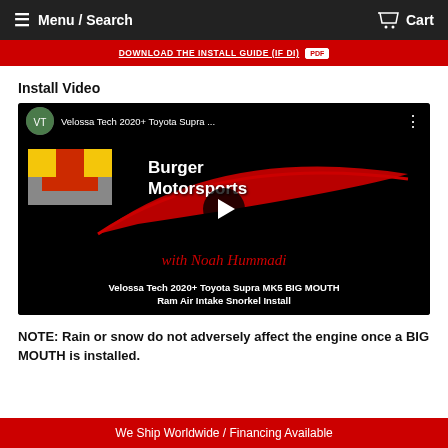Menu / Search   Cart
DOWNLOAD THE INSTALL GUIDE (If DI)  PDF
Install Video
[Figure (screenshot): YouTube video thumbnail for Velossa Tech 2020+ Toyota Supra MK5 BIG MOUTH Ram Air Intake Snorkel Install, featuring Burger Motorsports branding with checkerboard logo and red swoosh design, with Noah Hummadi, play button overlay.]
NOTE: Rain or snow do not adversely affect the engine once a BIG MOUTH is installed.
We Ship Worldwide / Financing Available